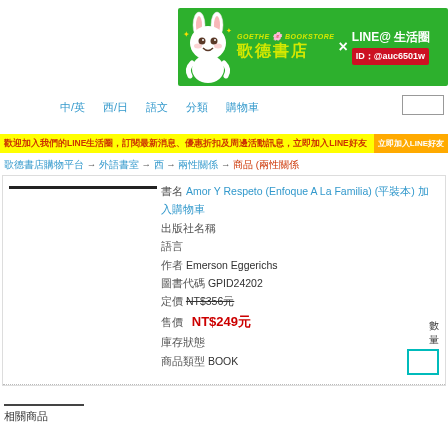[Figure (banner): Goethe Bookstore banner with LINE@ promotion. Green background with white rabbit mascot, Chinese text 歌德書店, LINE@ 生活圈, ID: @auc6501w]
中/英  西/日  語文  分類  購物車
加入我們的LINE生活圈，訂閱最新消息、優惠折扣及周邊活動     立即加入LINE好友
歌德書店購物平台 → 外語書室 → 西 → 兩性關係 → 商品 (兩性關係)
書名 Amor Y Respeto (Enfoque A La Familia) (平裝本) 加入購物車
出版社名稱
語言
作者 Emerson Eggerichs
圖書代碼 GPID24202
定價 NT$356元
售價  NT$249元
庫存狀態
商品 BOOK
相關商品